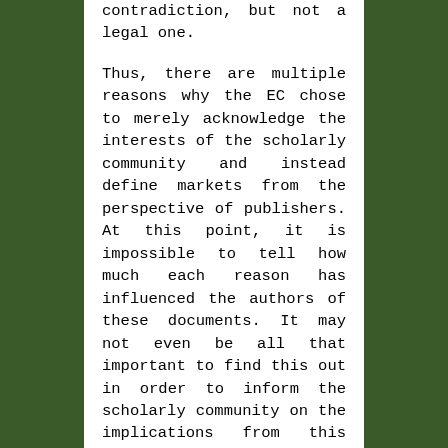contradiction, but not a legal one.
Thus, there are multiple reasons why the EC chose to merely acknowledge the interests of the scholarly community and instead define markets from the perspective of publishers. At this point, it is impossible to tell how much each reason has influenced the authors of these documents. It may not even be all that important to find this out in order to inform the scholarly community on the implications from this legal assessment. As I see it, there are two main lessons to be drawn from this